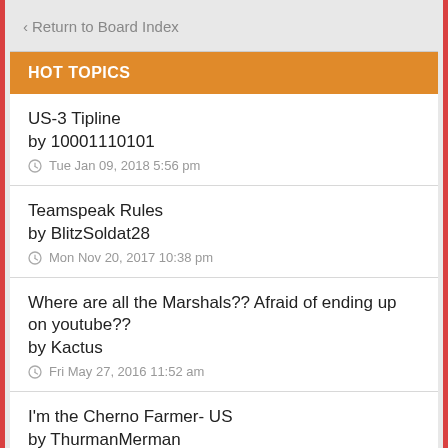< Return to Board Index
HOT TOPICS
US-3 Tipline
by 10001110101
Tue Jan 09, 2018 5:56 pm
Teamspeak Rules
by BlitzSoldat28
Mon Nov 20, 2017 10:38 pm
Where are all the Marshals?? Afraid of ending up on youtube??
by Kactus
Fri May 27, 2016 11:52 am
I'm the Cherno Farmer- US
by ThurmanMerman